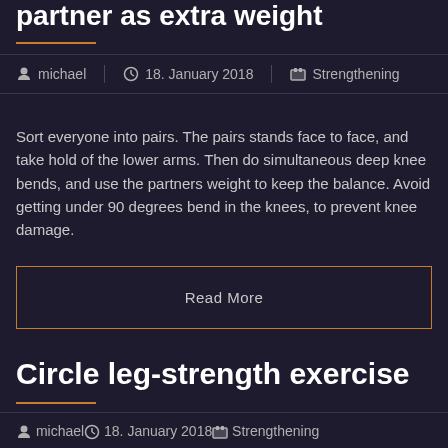partner as extra weight
michael | 18. January 2018 | Strengthening
Sort everyone into pairs. The pairs stands face to face, and take hold of the lower arms. Then do simultaneous deep knee bends, and use the partners weight to keep the balance. Avoid getting under 90 degrees bend in the knees, to prevent knee damage.
Read More
Circle leg-strength exercise
michael | 18. January 2018 | Strengthening